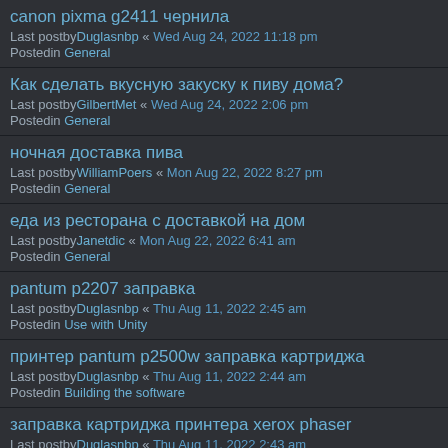canon pixma g2411 чернила
Last postby Duglasnbp « Wed Aug 24, 2022 11:18 pm
Posted in General
Как сделать вкусную закуску к пиву дома?
Last postby GilbertMet « Wed Aug 24, 2022 2:06 pm
Posted in General
ночная доставка пива
Last postby WilliamPoers « Mon Aug 22, 2022 8:27 pm
Posted in General
еда из ресторана с доставкой на дом
Last postby Janetdic « Mon Aug 22, 2022 6:41 am
Posted in General
pantum p2207 заправка
Last postby Duglasnbp « Thu Aug 11, 2022 2:45 am
Posted in Use with Unity
принтер pantum p2500w заправка картриджа
Last postby Duglasnbp « Thu Aug 11, 2022 2:44 am
Posted in Building the software
заправка картриджа принтера xerox phaser
Last postby Duglasnbp « Thu Aug 11, 2022 2:43 am